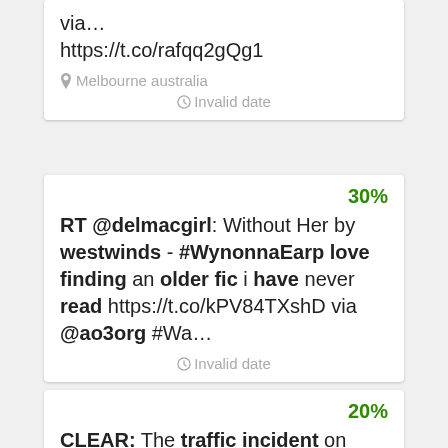via… https://t.co/rafqq2gQg1
Melbourne australia · Invalid date
30% RT @delmacgirl: Without Her by westwinds - #WynonnaEarp love finding an older fic i have never read https://t.co/kPV84TXshD via @ao3org #Wa…
Invalid date
20% CLEAR: The traffic incident on Westwinds Dr and 47 St NE is cleared. #yyctraffic